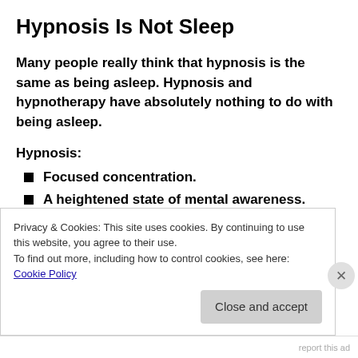Hypnosis Is Not Sleep
Many people really think that hypnosis is the same as being asleep. Hypnosis and hypnotherapy have absolutely nothing to do with being asleep.
Hypnosis:
Focused concentration.
A heightened state of mental awareness.
All hypnosis is just self-hypnosis.
Privacy & Cookies: This site uses cookies. By continuing to use this website, you agree to their use.
To find out more, including how to control cookies, see here: Cookie Policy